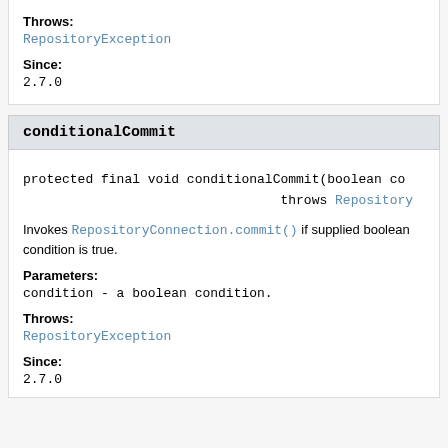Throws:
RepositoryException
Since:
2.7.0
conditionalCommit
protected final void conditionalCommit(boolean co throws Repository
Invokes RepositoryConnection.commit() if supplied boolean condition is true.
Parameters:
condition - a boolean condition.
Throws:
RepositoryException
Since:
2.7.0